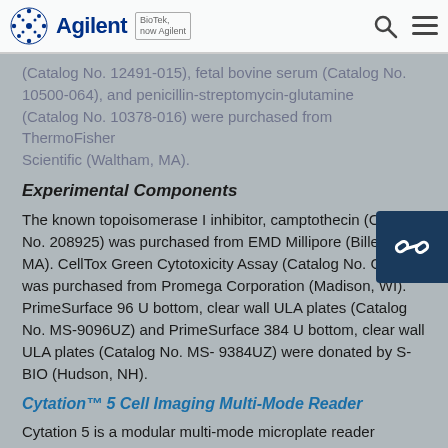Agilent | BioTek, now Agilent
(Catalog No. 12491-015), fetal bovine serum (Catalog No. 10500-064), and penicillin-streptomycin-glutamine (Catalog No. 10378-016) were purchased from ThermoFisher Scientific (Waltham, MA).
Experimental Components
The known topoisomerase I inhibitor, camptothecin (Catalog No. 208925) was purchased from EMD Millipore (Billerica, MA). CellTox Green Cytotoxicity Assay (Catalog No. G8731) was purchased from Promega Corporation (Madison, WI). PrimeSurface 96 U bottom, clear wall ULA plates (Catalog No. MS-9096UZ) and PrimeSurface 384 U bottom, clear wall ULA plates (Catalog No. MS- 9384UZ) were donated by S-BIO (Hudson, NH).
Cytation™ 5 Cell Imaging Multi-Mode Reader
Cytation 5 is a modular multi-mode microplate reader combined with an automated digital microscope. Filter- and monochromator-based optics and automation capabilities are available.